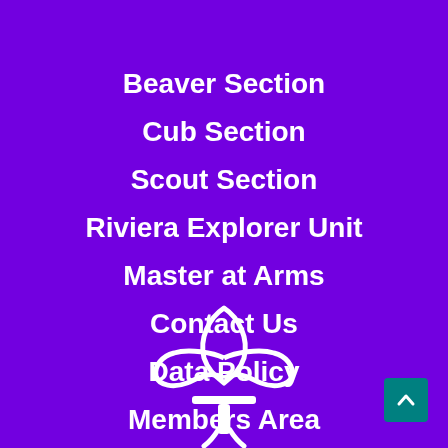Beaver Section
Cub Section
Scout Section
Riviera Explorer Unit
Master at Arms
Contact Us
Data Policy
Members Area
[Figure (logo): Scouts fleur-de-lis logo in white on purple background]
[Figure (other): Back to top button (teal square with upward chevron arrow)]